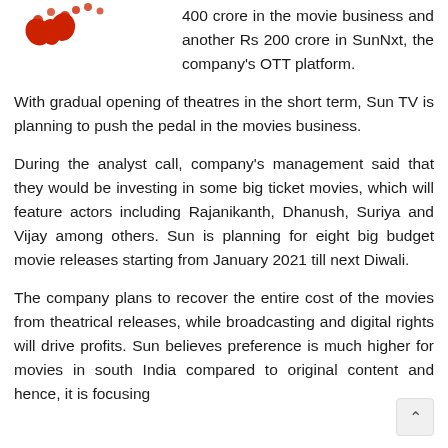[Figure (logo): Red decorative logo/icon with flame-like design in top left corner]
400 crore in the movie business and another Rs 200 crore in SunNxt, the company's OTT platform.
With gradual opening of theatres in the short term, Sun TV is planning to push the pedal in the movies business.
During the analyst call, company's management said that they would be investing in some big ticket movies, which will feature actors including Rajanikanth, Dhanush, Suriya and Vijay among others. Sun is planning for eight big budget movie releases starting from January 2021 till next Diwali.
The company plans to recover the entire cost of the movies from theatrical releases, while broadcasting and digital rights will drive profits. Sun believes preference is much higher for movies in south India compared to original content and hence, it is focusing